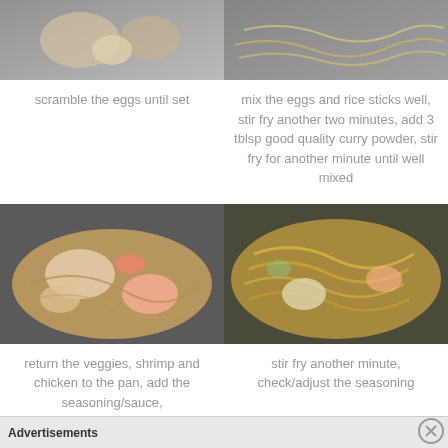[Figure (photo): Food photo showing scrambled eggs in a pan]
scramble the eggs until set
[Figure (photo): Food photo showing eggs and rice sticks being stir fried]
mix the eggs and rice sticks well, stir fry another two minutes, add 3 tblsp good quality curry powder, stir fry for another minute until well mixed
[Figure (photo): Food photo showing veggies, shrimp and chicken in pan with rice sticks]
return the veggies, shrimp and chicken to the pan, add the seasoning/sauce,
[Figure (photo): Food photo showing stir fried noodles with vegetables and shrimp]
stir fry another minute, check/adjust the seasoning
Advertisements